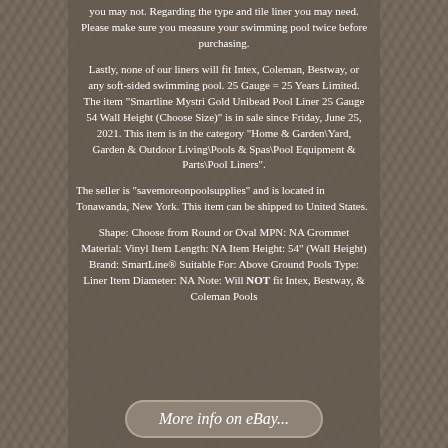you may not. Regarding the type and tile liner you may need. Please make sure you measure your swimming pool twice before purchasing.
Lastly, none of our liners will fit Intex, Coleman, Bestway, or any soft-sided swimming pool. 25 Gauge = 25 Years Limited. The item "Smartline Mystri Gold Unibead Pool Liner 25 Gauge 54 Wall Height (Choose Size)" is in sale since Friday, June 25, 2021. This item is in the category "Home & Garden\Yard, Garden & Outdoor Living\Pools & Spas\Pool Equipment & Parts\Pool Liners".
The seller is "savemoreonpoolsupplies" and is located in Tonawanda, New York. This item can be shipped to United States.
Shape: Choose from Round or Oval MPN: NA Grommet Material: Vinyl Item Length: NA Item Height: 54" (Wall Height) Brand: SmartLine® Suitable For: Above Ground Pools Type: Liner Item Diameter: NA Note: Will NOT fit Intex, Bestway, & Coleman Pools
More info on eBay...